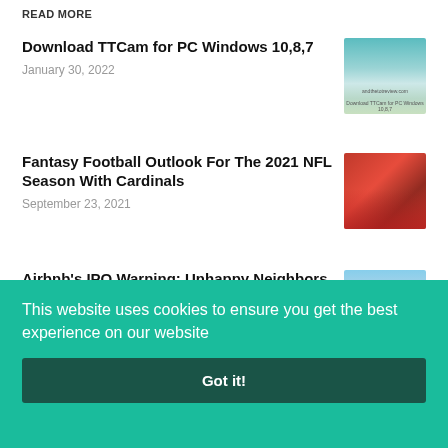READ MORE
Download TTCam for PC Windows 10,8,7
January 30, 2022
[Figure (screenshot): Screenshot thumbnail for TTCam for PC Windows article with teal gradient background and small text]
Fantasy Football Outlook For The 2021 NFL Season With Cardinals
September 23, 2021
[Figure (photo): Photo thumbnail of NFL Cardinals player in red uniform smiling]
Airbnb's IPO Warning: Unhappy Neighbors Are Fighting Back
December 9, 2020
[Figure (photo): Photo thumbnail of a street scene with blue sky and palm trees]
This website uses cookies to ensure you get the best experience on our website
Got it!